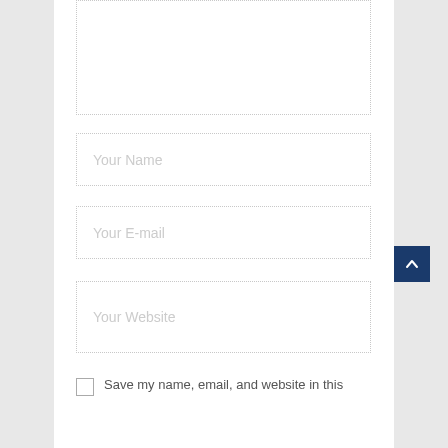[Figure (screenshot): A comment form section showing a large textarea field (partially cut off at top), followed by three input fields labeled 'Your Name', 'Your E-mail', and 'Your Website', all with dotted borders. Below these fields is a checkbox with the text 'Save my name, email, and website in this'. A dark blue 'back to top' button with a caret/arrow is visible on the right side.]
Your Name
Your E-mail
Your Website
Save my name, email, and website in this